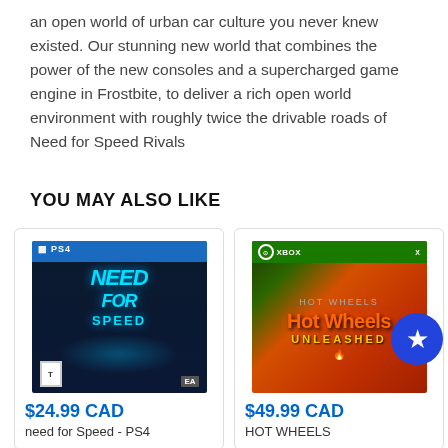an open world of urban car culture you never knew existed. Our stunning new world that combines the power of the new consoles and a supercharged game engine in Frostbite, to deliver a rich open world environment with roughly twice the drivable roads of Need for Speed Rivals
YOU MAY ALSO LIKE
[Figure (photo): Need for Speed PS4 game cover with blue PS4 branding bar at top, dark background with cars and characters, blue glowing car]
$24.99 CAD
need for Speed - PS4
[Figure (photo): Hot Wheels Unleashed Xbox Series X game cover with green Xbox bar at top, orange track and cars on orange background, blue circular star badge overlay]
$49.99 CAD
HOT WHEELS